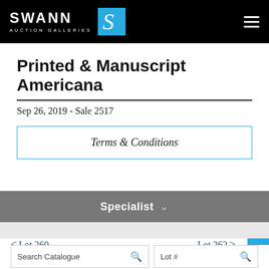SWANN AUCTION GALLERIES
Printed & Manuscript Americana
Sep 26, 2019 - Sale 2517
Terms & Conditions
Specialist
< Lot 260    Lot 262 >
Search Catalogue    Lot #